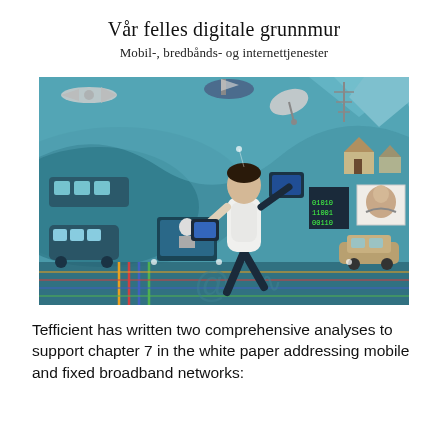Vår felles digitale grunnmur
Mobil-, bredbånds- og internettjenester
[Figure (illustration): Colorful digital/connectivity illustration showing a person using a tablet in a teal-blue environment filled with icons representing mobile networks, satellites, vehicles, homes, aircraft, TVs, WiFi symbols, and connected devices — representing mobile, broadband, and internet services.]
Tefficient has written two comprehensive analyses to support chapter 7 in the white paper addressing mobile and fixed broadband networks: